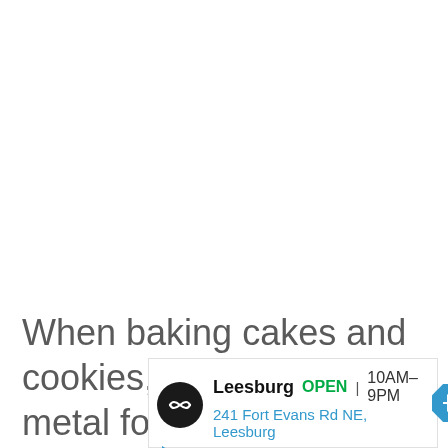When baking cakes and cookies, opt for a lighter metal for an evenly radiated heat. This will also ensure the bottom of
[Figure (other): Advertisement for Leesburg store. Shows circular black logo with double arrow icon, store name 'Leesburg', status 'OPEN', hours '10AM-9PM', address '241 Fort Evans Rd NE, Leesburg', and a blue navigation arrow icon. Small play and close icons at bottom left.]